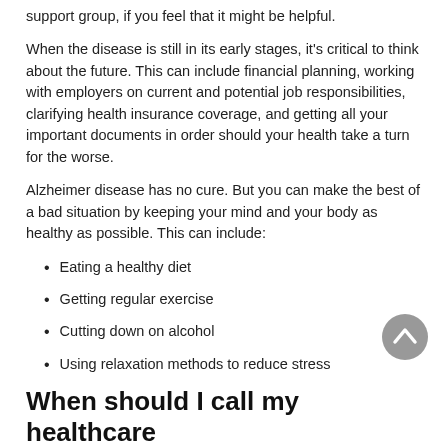support group, if you feel that it might be helpful.
When the disease is still in its early stages, it's critical to think about the future. This can include financial planning, working with employers on current and potential job responsibilities, clarifying health insurance coverage, and getting all your important documents in order should your health take a turn for the worse.
Alzheimer disease has no cure. But you can make the best of a bad situation by keeping your mind and your body as healthy as possible. This can include:
Eating a healthy diet
Getting regular exercise
Cutting down on alcohol
Using relaxation methods to reduce stress
When should I call my healthcare